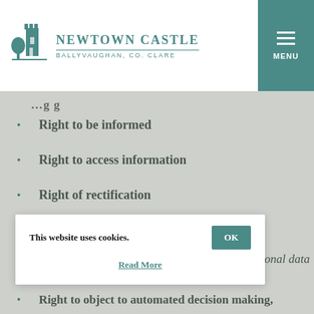Newtown Castle – Ballyvaughan, Co. Clare
Right to be informed
Right to access information
Right of rectification
Right to erasure
Right to data portability
…ersonal data
This website uses cookies.
Read More
Right to object to automated decision making,